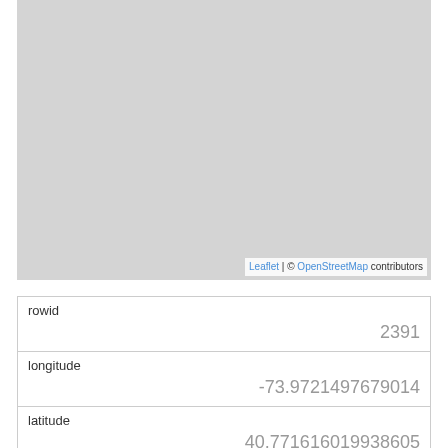[Figure (map): A light gray map tile area (blank/loading Leaflet/OpenStreetMap tile) with attribution 'Leaflet | © OpenStreetMap contributors' at the bottom right.]
| rowid | 2391 |
| longitude | -73.9721497679014 |
| latitude | 40.771616019938605 |